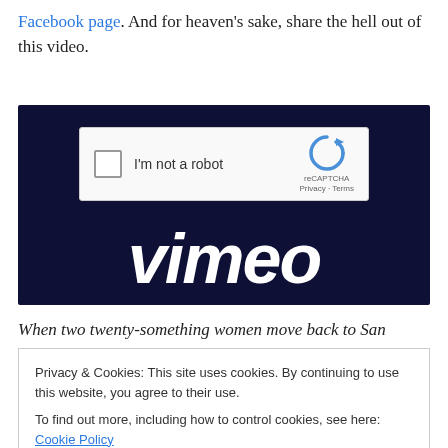Facebook page. And for heaven's sake, share the hell out of this video.
[Figure (screenshot): A Vimeo video player screenshot showing a reCAPTCHA 'I'm not a robot' checkbox widget on a dark navy background, with the Vimeo logo in white italic script below.]
When two twenty-something women move back to San
Privacy & Cookies: This site uses cookies. By continuing to use this website, you agree to their use.
To find out more, including how to control cookies, see here: Cookie Policy
responsibility and romance, combined with their close